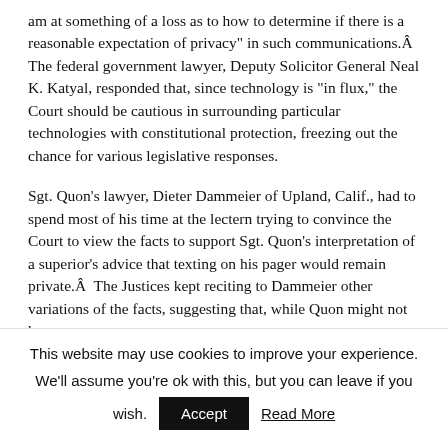am at something of a loss as to how to determine if there is a reasonable expectation of privacy" in such communications.Â  The federal government lawyer, Deputy Solicitor General Neal K. Katyal, responded that, since technology is "in flux," the Court should be cautious in surrounding particular technologies with constitutional protection, freezing out the chance for various legislative responses.
Sgt. Quon's lawyer, Dieter Dammeier of Upland, Calif., had to spend most of his time at the lectern trying to convince the Court to view the facts to support Sgt. Quon's interpretation of a superior's advice that texting on his pager would remain private.Â  The Justices kept reciting to Dammeier other variations of the facts, suggesting that, while Quon might not have
This website may use cookies to improve your experience. We'll assume you're ok with this, but you can leave if you wish.